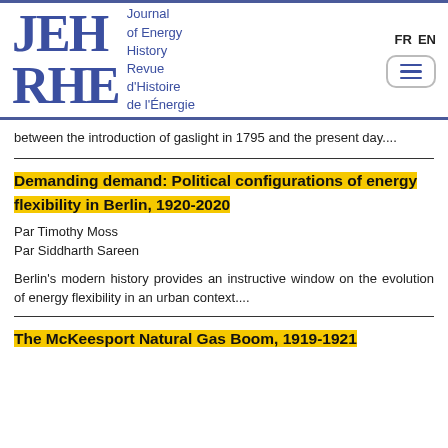[Figure (logo): JEH RHE Journal of Energy History Revue d'Histoire de l'Énergie logo with FR EN language switcher and hamburger menu]
between the introduction of gaslight in 1795 and the present day....
Demanding demand: Political configurations of energy flexibility in Berlin, 1920-2020
Par Timothy Moss
Par Siddharth Sareen
Berlin's modern history provides an instructive window on the evolution of energy flexibility in an urban context....
The McKeesport Natural Gas Boom, 1919-1921